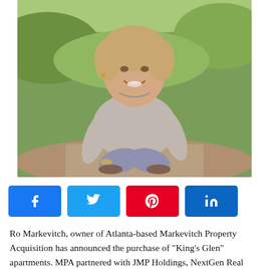[Figure (photo): Outdoor photo of Ro Markevitch, a woman in a grey t-shirt smiling and crouching on a dirt path surrounded by green foliage]
[Figure (infographic): Social media share buttons: Facebook (blue), Twitter (light blue), Pinterest (red), LinkedIn (dark blue)]
Ro Markevitch, owner of Atlanta-based Markevitch Property Acquisition has announced the purchase of "King's Glen" apartments. MPA partnered with JMP Holdings, NextGen Real Capital and Legacy Builders